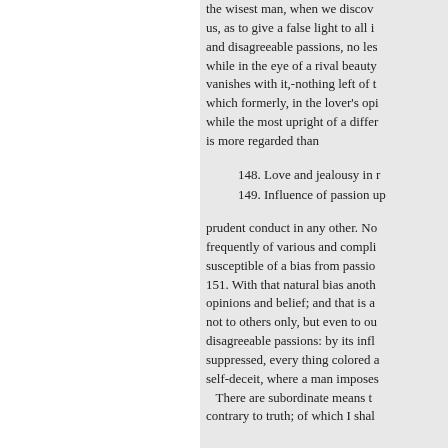the wisest man, when we discover some passion that blinds us, as to give a false light to all it surveys; agreeable and disagreeable passions, no less than others; beauty, while in the eye of a rival beauty vanishes with it,-nothing left of those charms which formerly, in the lover's opinion, adorned her; while the most upright of a different sect or party is more regarded than
148. Love and jealousy in r
149. Influence of passion up
prudent conduct in any other. Now, as our minds are frequently of various and complicated texture, and susceptible of a bias from passion,
151. With that natural bias another concurs in warping opinions and belief; and that is a disposition, natural not to others only, but even to ourselves, to suppress disagreeable passions: by its influence every thing disagreeable suppressed, every thing colored agreeably:—a sort of self-deceit, where a man imposes
There are subordinate means to bias the judgment contrary to truth; of which I shal